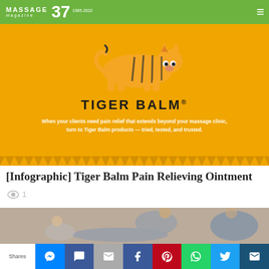MASSAGE magazine 37 | 1985-2022
[Figure (logo): Tiger Balm advertisement banner with orange background, tiger logo, TIGER BALM text, and tagline: When your clients need pain relief that extends beyond your massage clinic, turn to Tiger Balm products — tried, tested, and trusted.]
[Infographic] Tiger Balm Pain Relieving Ointment
1
[Figure (photo): A massage therapist working on a client, with another person visible in the background.]
Shares | Facebook Messenger | Facebook Chat | Email | Facebook | Pinterest | WhatsApp | Twitter | Envelope